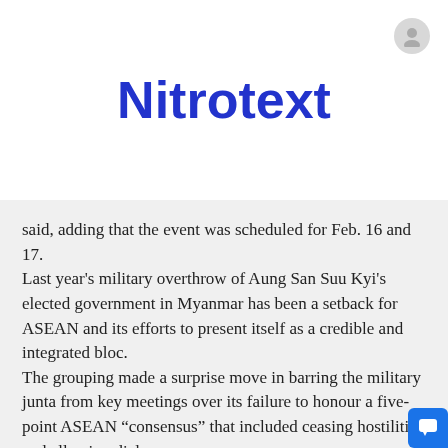Nitrotext
said, adding that the event was scheduled for Feb. 16 and 17.
Last year's military overthrow of Aung San Suu Kyi's elected government in Myanmar has been a setback for ASEAN and its efforts to present itself as a credible and integrated bloc.
The grouping made a surprise move in barring the military junta from key meetings over its failure to honour a five-point ASEAN “consensus” that included ceasing hostilities and allowing dialogue.